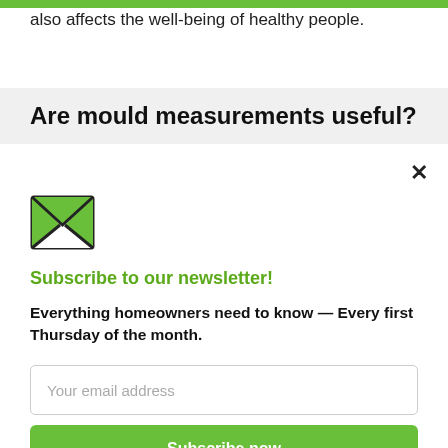also affects the well-being of healthy people.
Are mould measurements useful?
[Figure (illustration): Green envelope icon representing newsletter subscription]
Subscribe to our newsletter!
Everything homeowners need to know — Every first Thursday of the month.
Your email address
Subscribe now